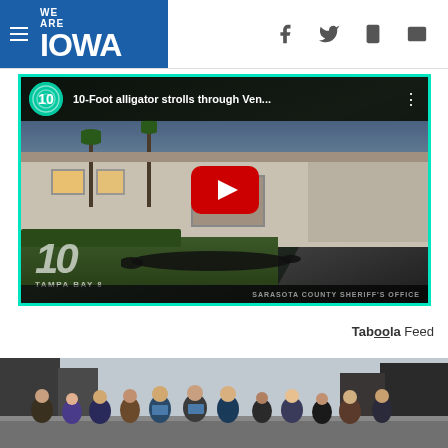WE ARE IOWA
[Figure (screenshot): YouTube video embed showing '10-Foot alligator strolls through Ven...' with Tampa Bay 10 channel logo, play button, and suburban Florida home background. Sarasota County Sheriff's Office caption at bottom.]
Taboola Feed
[Figure (photo): Group of people standing on a city street, wearing casual clothing including t-shirts with a logo.]